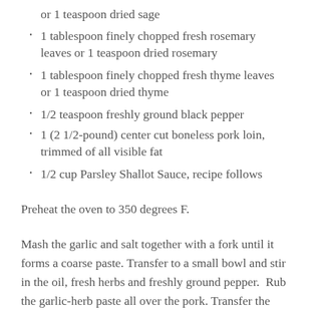or 1 teaspoon dried sage
1 tablespoon finely chopped fresh rosemary leaves or 1 teaspoon dried rosemary
1 tablespoon finely chopped fresh thyme leaves or 1 teaspoon dried thyme
1/2 teaspoon freshly ground black pepper
1 (2 1/2-pound) center cut boneless pork loin, trimmed of all visible fat
1/2 cup Parsley Shallot Sauce, recipe follows
Preheat the oven to 350 degrees F.
Mash the garlic and salt together with a fork until it forms a coarse paste. Transfer to a small bowl and stir in the oil, fresh herbs and freshly ground pepper.  Rub the garlic-herb paste all over the pork. Transfer the